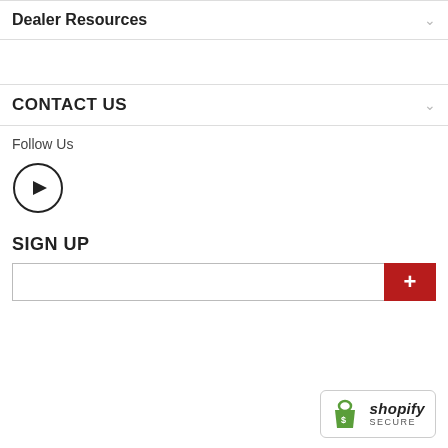Dealer Resources
CONTACT US
Follow Us
[Figure (other): YouTube icon — circle with play button triangle]
SIGN UP
[Figure (other): Email sign-up input field with red plus button]
[Figure (logo): Shopify Secure badge with Shopify green bag logo]